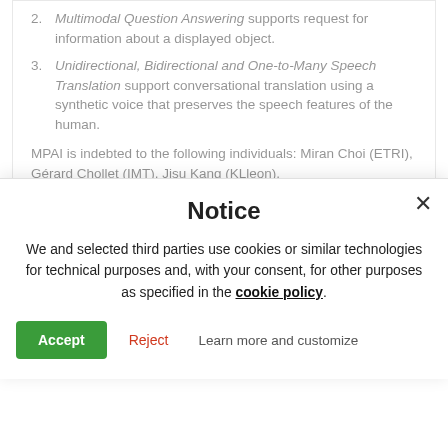2. Multimodal Question Answering supports request for information about a displayed object.
3. Unidirectional, Bidirectional and One-to-Many Speech Translation support conversational translation using a synthetic voice that preserves the speech features of the human.
MPAI is indebted to the following individuals: Miran Choi (ETRI), Gérard Chollet (IMT), Jisu Kang (KLleon),
Notice
We and selected third parties use cookies or similar technologies for technical purposes and, with your consent, for other purposes as specified in the cookie policy.
Accept  Reject  Learn more and customize